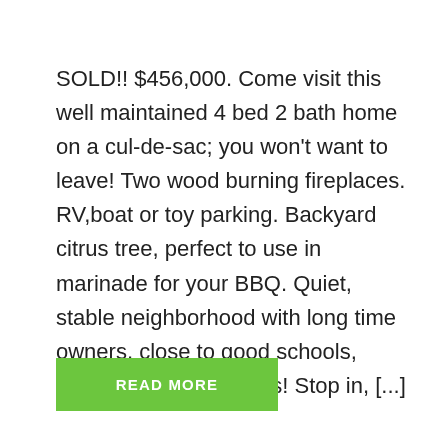SOLD!! $456,000. Come visit this well maintained 4 bed 2 bath home on a cul-de-sac; you won't want to leave! Two wood burning fireplaces. RV,boat or toy parking. Backyard citrus tree, perfect to use in marinade for your BBQ. Quiet, stable neighborhood with long time owners, close to good schools, shopping and freeways! Stop in, [...]
READ MORE